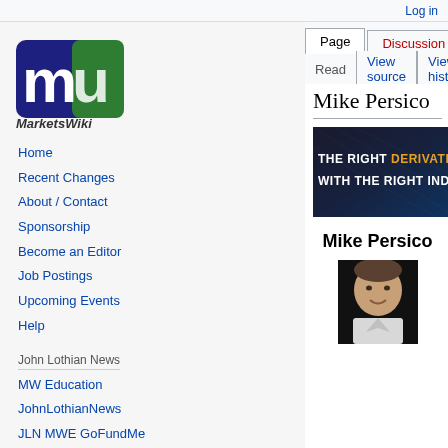Log in
[Figure (logo): MarketsWiki logo with blue and green stylized M/W letters above the text MarketsWiki]
Mike Persico
[Figure (other): Advertisement banner with dark background reading THE RIGHT DERIVATIVE WITH THE RIGHT INDEX]
Mike Persico
[Figure (photo): Headshot photo of Mike Persico, a man smiling, against a dark background]
Home
Recent Changes
About / Contact
Sponsorship
Become an Editor
Job Postings
Upcoming Events
Help
John Lothian News
MW Education
JohnLothianNews
JLN MWE GoFundMe